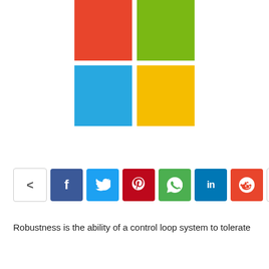[Figure (logo): Microsoft logo — four colored squares arranged in a 2x2 grid: red (top-left), green (top-right), blue (bottom-left), yellow (bottom-right)]
[Figure (infographic): Social sharing bar with icons: share (outline), Facebook (f), Twitter (bird), Pinterest (p), WhatsApp (phone), LinkedIn (in), Reddit (alien), and more (+)]
Robustness is the ability of a control loop system to tolerate